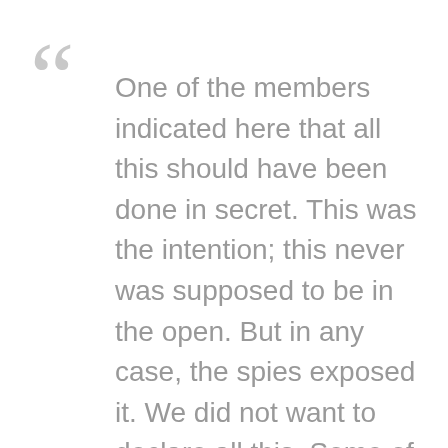One of the members indicated here that all this should have been done in secret. This was the intention; this never was supposed to be in the open. But in any case, the spies exposed it. We did not want to declare all this. Some of you say that if we had said from the start that we wanted to have the fuel cycle, the situation would have been easier. Yes, if we had decided to declare our intentions at the...